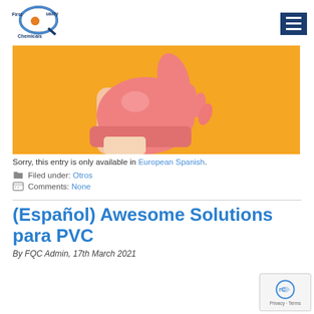First Quality Chemicals
[Figure (photo): A hand wearing a pink rubber cleaning glove giving a thumbs up against a yellow/orange background]
Sorry, this entry is only available in European Spanish.
Filed under: Otros
Comments: None
(Español) Awesome Solutions para PVC
By FQC Admin, 17th March 2021